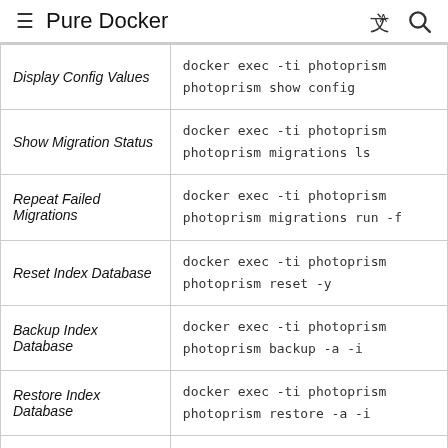Pure Docker
| Action | Command |
| --- | --- |
| Display Config Values | docker exec -ti photoprism
photoprism show config |
| Show Migration Status | docker exec -ti photoprism
photoprism migrations ls |
| Repeat Failed Migrations | docker exec -ti photoprism
photoprism migrations run -f |
| Reset Index Database | docker exec -ti photoprism
photoprism reset -y |
| Backup Index Database | docker exec -ti photoprism
photoprism backup -a -i |
| Restore Index Database | docker exec -ti photoprism
photoprism restore -a -i |